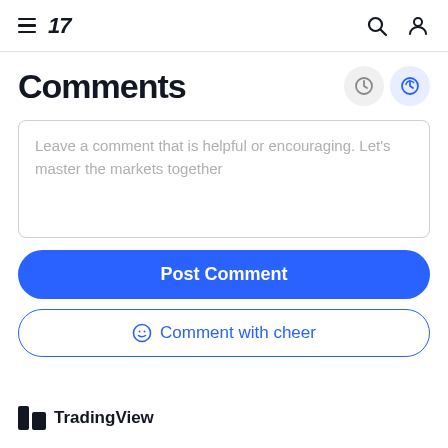TradingView navigation header with hamburger menu, logo, search and user icons
Comments
[Figure (screenshot): Two circular icon buttons - one gray (clock/history icon) and one blue (refresh/sync icon)]
Leave a comment that is helpful or encouraging. Let's master the markets together
Post Comment
Comment with cheer
TradingView